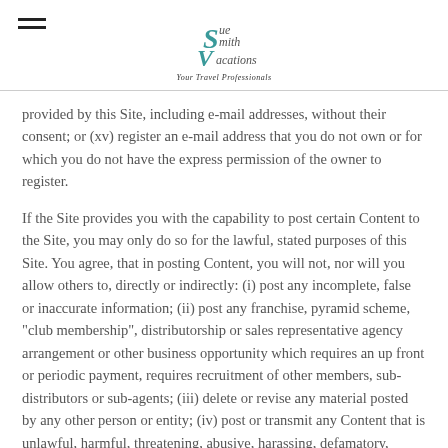Sue Smith Vacations — Your Travel Professionals
provided by this Site, including e-mail addresses, without their consent; or (xv) register an e-mail address that you do not own or for which you do not have the express permission of the owner to register.
If the Site provides you with the capability to post certain Content to the Site, you may only do so for the lawful, stated purposes of this Site. You agree, that in posting Content, you will not, nor will you allow others to, directly or indirectly: (i) post any incomplete, false or inaccurate information; (ii) post any franchise, pyramid scheme, "club membership", distributorship or sales representative agency arrangement or other business opportunity which requires an up front or periodic payment, requires recruitment of other members, sub-distributors or sub-agents; (iii) delete or revise any material posted by any other person or entity; (iv) post or transmit any Content that is unlawful, harmful, threatening, abusive, harassing, defamatory,